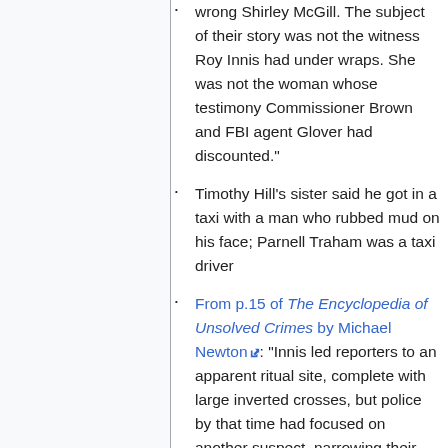wrong Shirley McGill. The subject of their story was not the witness Roy Innis had under wraps. She was not the woman whose testimony Commissioner Brown and FBI agent Glover had discounted."
Timothy Hill's sister said he got in a taxi with a man who rubbed mud on his face; Parnell Traham was a taxi driver
From p.15 of The Encyclopedia of Unsolved Crimes by Michael Newton: "Innis led reporters to an apparent ritual site, complete with large inverted crosses, but police by that time had focused on another suspect, narrowing their scrutiny to the exclusion of all other possibilities."